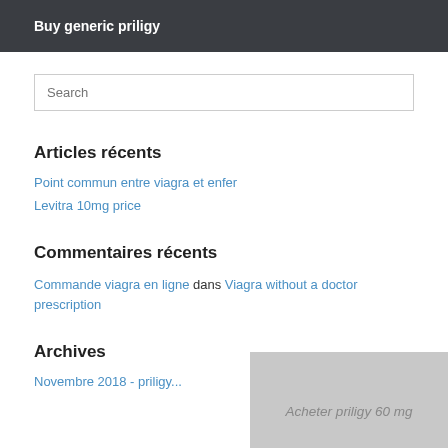Buy generic priligy
Search
Articles récents
Point commun entre viagra et enfer
Levitra 10mg price
Commentaires récents
Commande viagra en ligne dans Viagra without a doctor prescription
[Figure (photo): Acheter priligy 60 mg overlay button/image in bottom right corner]
Archives
(truncated link text below Archives)